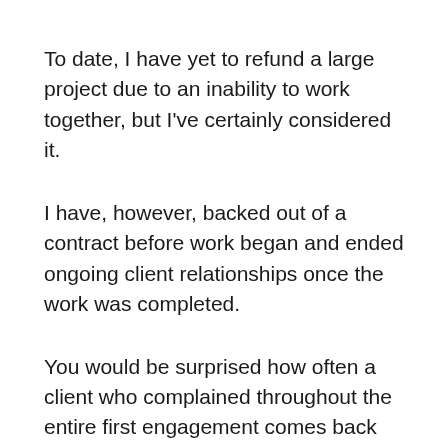To date, I have yet to refund a large project due to an inability to work together, but I've certainly considered it.
I have, however, backed out of a contract before work began and ended ongoing client relationships once the work was completed.
You would be surprised how often a client who complained throughout the entire first engagement comes back for more. It's a bizarre phenomenon.
And don't forget – you are likely forgoing other